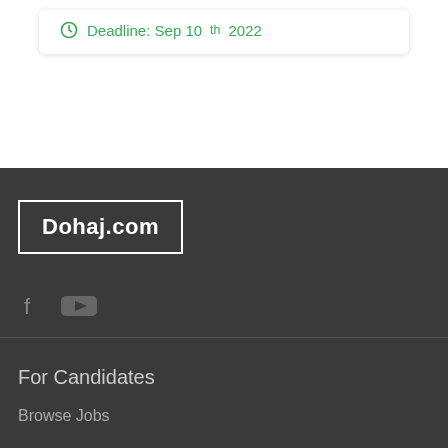Deadline: Sep 10th 2022
[Figure (logo): Dohaj.com logo in white text inside a rectangular border]
[Figure (other): Social media icons: Facebook and YouTube]
For Candidates
Browse Jobs